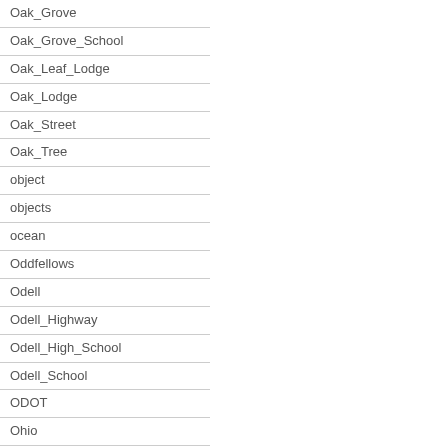Oak_Grove
Oak_Grove_School
Oak_Leaf_Lodge
Oak_Lodge
Oak_Street
Oak_Tree
object
objects
ocean
Oddfellows
Odell
Odell_Highway
Odell_High_School
Odell_School
ODOT
Ohio
oil
Olallie_Lake
Olcott
Oldfield